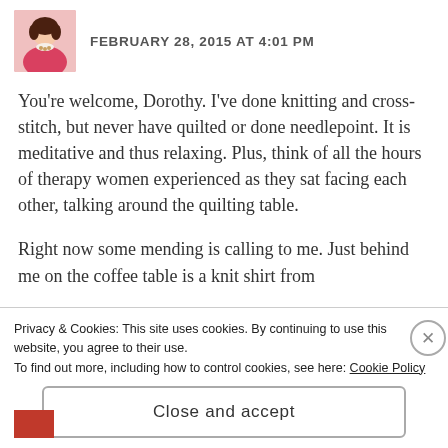[Figure (photo): Avatar photo of a woman in a pink/red jacket with a necklace]
FEBRUARY 28, 2015 AT 4:01 PM
You're welcome, Dorothy. I've done knitting and cross-stitch, but never have quilted or done needlepoint. It is meditative and thus relaxing. Plus, think of all the hours of therapy women experienced as they sat facing each other, talking around the quilting table.
Right now some mending is calling to me. Just behind me on the coffee table is a knit shirt from
Privacy & Cookies: This site uses cookies. By continuing to use this website, you agree to their use.
To find out more, including how to control cookies, see here: Cookie Policy
Close and accept